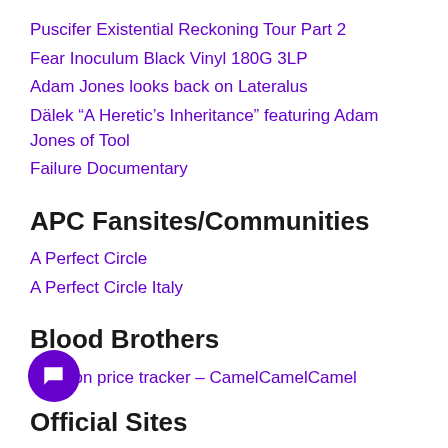Puscifer Existential Reckoning Tour Part 2
Fear Inoculum Black Vinyl 180G 3LP
Adam Jones looks back on Lateralus
Dälek “A Heretic’s Inheritance” featuring Adam Jones of Tool
Failure Documentary
APC Fansites/Communities
A Perfect Circle
A Perfect Circle Italy
Blood Brothers
Amazon price tracker – CamelCamelCamel
Official Sites